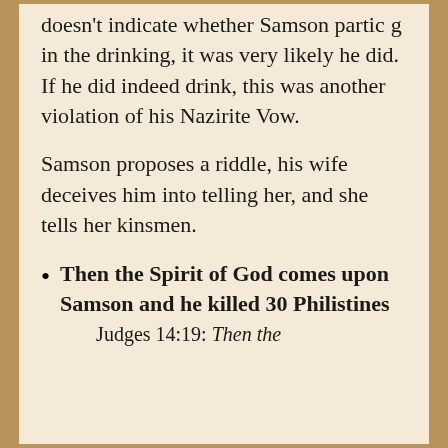doesn't indicate whether Samson participating in the drinking, it was very likely he did. If he did indeed drink, this was another violation of his Nazirite Vow.
Samson proposes a riddle, his wife deceives him into telling her, and she tells her kinsmen.
Then the Spirit of God comes upon Samson and he killed 30 Philistines Judges 14:19: Then the